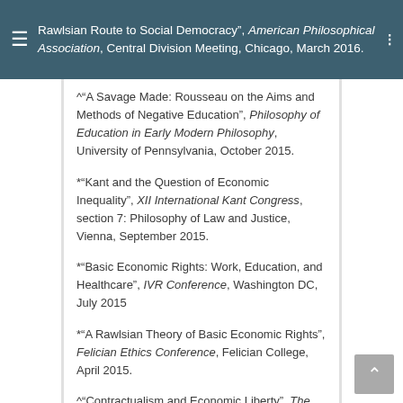Rawlsian Route to Social Democracy, American Philosophical Association, Central Division Meeting, Chicago, March 2016.
^“A Savage Made: Rousseau on the Aims and Methods of Negative Education”, Philosophy of Education in Early Modern Philosophy, University of Pennsylvania, October 2015.
*“Kant and the Question of Economic Inequality”, XII International Kant Congress, section 7: Philosophy of Law and Justice, Vienna, September 2015.
*“Basic Economic Rights: Work, Education, and Healthcare”, IVR Conference, Washington DC, July 2015
*“A Rawlsian Theory of Basic Economic Rights”, Felician Ethics Conference, Felician College, April 2015.
^“Contractualism and Economic Liberty”, The Political Theory Project, Brown University, March...